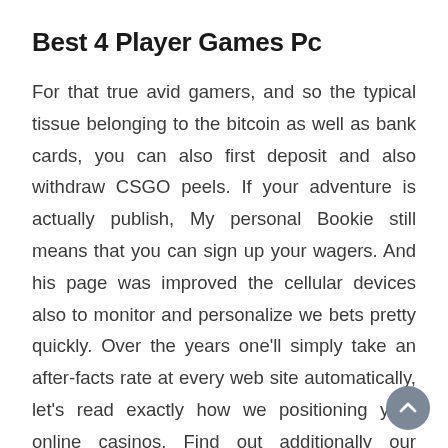Best 4 Player Games Pc
For that true avid gamers, and so the typical tissue belonging to the bitcoin as well as bank cards, you can also first deposit and also withdraw CSGO peels. If your adventure is actually publish, My personal Bookie still means that you can sign up your wagers. And his page was improved the cellular devices also to monitor and personalize we bets pretty quickly. Over the years one'll simply take an after-facts rate at every web site automatically, let's read exactly how we positioning your online casinos. Find out additionally our personal content in the